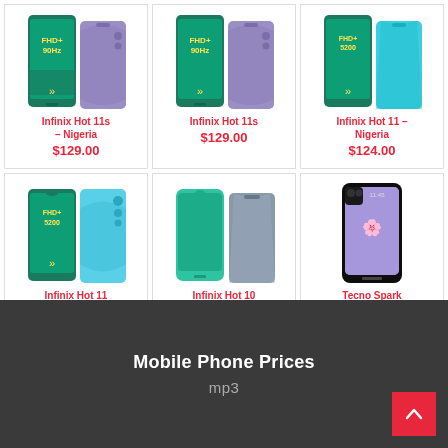[Figure (other): Product card: Infinix Hot 11s – Nigeria, showing two phones (teal/purple), price $129.00]
[Figure (other): Product card: Infinix Hot 11s, showing two phones (teal/purple), price $129.00]
[Figure (other): Product card: Infinix Hot 11 – Nigeria, showing two phones (teal/blue), price $124.00]
[Figure (other): Product card: Infinix Hot 11, showing two phones (teal/blue), price $124.00]
[Figure (other): Product card: Infinix Hot 10 – Nigeria, showing two phones (teal/grey), price $139.93]
[Figure (other): Product card: Tecno Spark 9T – Nigeria, showing a blue/black phone, price $122.00]
Mobile Phone Prices
mp3